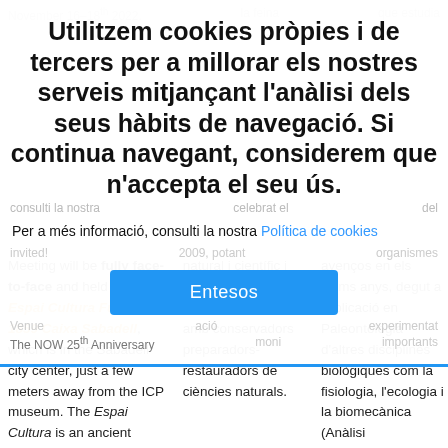November 16–18th 2022
la feina
que estudia
Utilitzem cookies pròpies i de tercers per a millorar els nostres serveis mitjançant l'anàlisi dels seus hàbits de navegació. Si continua navegant, considerem que n'accepta el seu ús.
Per a més informació, consulti la nostra Política de cookies
Entesos
Venue
ació
experimentat
The NOW 25th Anniversary
moni
importants
Meeting will be fully face-to-face and held at the Espai Cultura Fundació 1859 Caixa Sabadell, which is in the Sabadell city center, just a few meters away from the ICP museum. The Espai Cultura is an ancient modernist style building by renowned architect Jeroni Martorell surrounded by nice gardens. It is
natural i científic i oferint l'oportunitat única de debatre amb conservadors preparadors-restauradors de ciències naturals.
avenços en els últims anys, degut a l'aplicació en Paleontologia d'altres disciplines biològiques com la fisiologia, l'ecologia i la biomecànica (Anàlisi